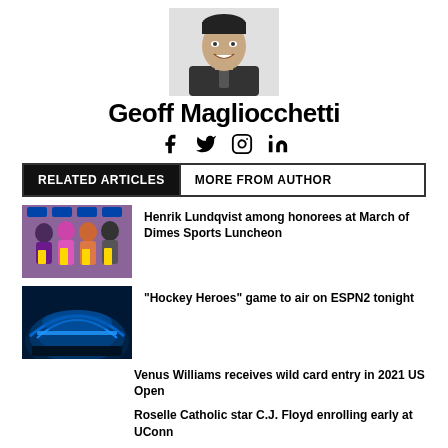[Figure (photo): Black and white headshot photo of Geoff Magliocchetti, a man in a suit and tie, smiling]
Geoff Magliocchetti
[Figure (infographic): Social media icons: Facebook, Twitter, Instagram, LinkedIn]
RELATED ARTICLES | MORE FROM AUTHOR
[Figure (photo): Group of people at March of Dimes Sports Luncheon holding awards]
Henrik Lundqvist among honorees at March of Dimes Sports Luncheon
[Figure (photo): Blue-lit sports arena exterior at night]
“Hockey Heroes” game to air on ESPN2 tonight
Venus Williams receives wild card entry in 2021 US Open
Roselle Catholic star C.J. Floyd enrolling early at UConn